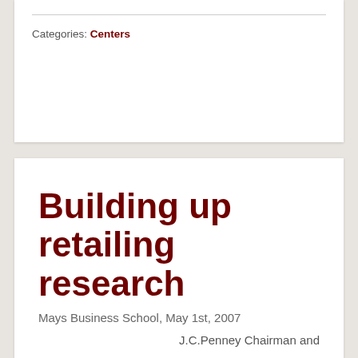Categories: Centers
Building up retailing research
Mays Business School, May 1st, 2007
J.C.Penney Chairman and